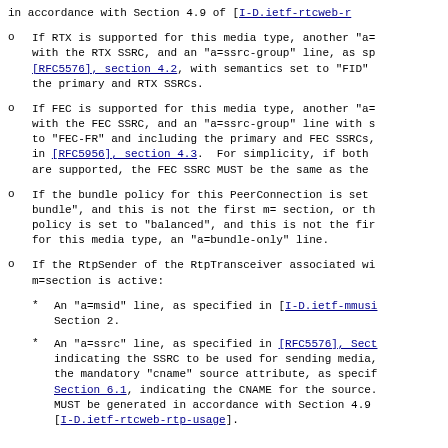in accordance with Section 4.9 of [I-D.ietf-rtcweb-r
If RTX is supported for this media type, another "a= with the RTX SSRC, and an "a=ssrc-group" line, as sp [RFC5576], section 4.2, with semantics set to "FID" the primary and RTX SSRCs.
If FEC is supported for this media type, another "a= with the FEC SSRC, and an "a=ssrc-group" line with s to "FEC-FR" and including the primary and FEC SSRCs, in [RFC5956], section 4.3. For simplicity, if both are supported, the FEC SSRC MUST be the same as the
If the bundle policy for this PeerConnection is set bundle", and this is not the first m= section, or th policy is set to "balanced", and this is not the fir for this media type, an "a=bundle-only" line.
If the RtpSender of the RtpTransceiver associated wi m=section is active:
An "a=msid" line, as specified in [I-D.ietf-mmusi Section 2.
An "a=ssrc" line, as specified in [RFC5576], Sect indicating the SSRC to be used for sending media, the mandatory "cname" source attribute, as specif Section 6.1, indicating the CNAME for the source. MUST be generated in accordance with Section 4.9 [I-D.ietf-rtcweb-rtp-usage].